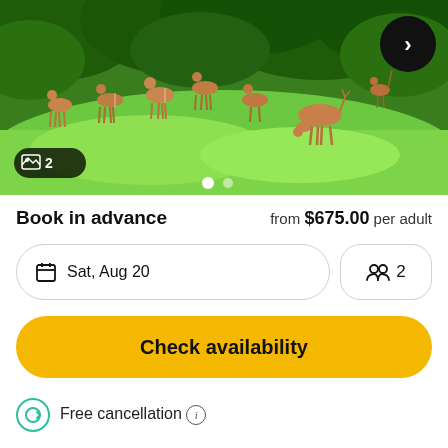[Figure (photo): A herd of impala/gazelle grazing on lush green grass with dense green trees in the background. Wildlife safari scene.]
Book in advance
from $675.00 per adult
Sat, Aug 20
2
Check availability
Free cancellation ℹ